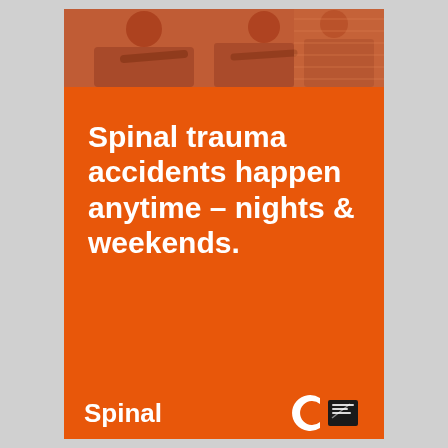[Figure (photo): Black and white/sepia-toned photo strip at the top showing medical personnel attending to a patient, cropped to a horizontal band]
Spinal trauma accidents happen anytime – nights & weekends.
Spinal
[Figure (logo): Spinal organization logo — white stylized 'C' shape with black certificate/book icon to its right]